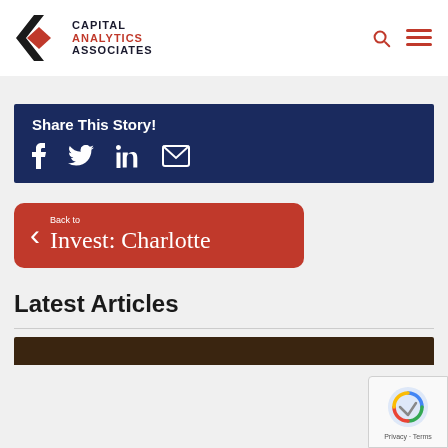[Figure (logo): Capital Analytics Associates logo with chevron diamond icon and company name]
Share This Story!
Facebook, Twitter, LinkedIn, Email share icons
Back to Invest: Charlotte
Latest Articles